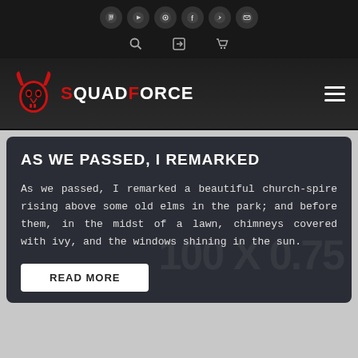Social icons: Twitch, YouTube, Steam, Facebook, Twitter, Email. Nav icons: Search, Sign-in, Cart.
SQUADFORCE
AS WE PASSED, I REMARKED
As we passed, I remarked a beautiful church-spire rising above some old elms in the park; and before them, in the midst of a lawn, chimneys covered with ivy, and the windows shining in the sun.
READ MORE